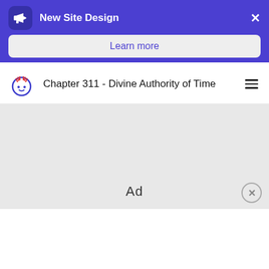New Site Design
Learn more
Chapter 311 - Divine Authority of Time
[Figure (screenshot): Ad placeholder box with an 'Ad' label and a close button (X in circle) in the bottom right corner.]